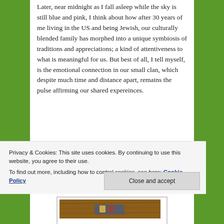Later, near midnight as I fall asleep while the sky is still blue and pink, I think about how after 30 years of me living in the US and being Jewish, our culturally blended family has morphed into a unique symbiosis of traditions and appreciations; a kind of attentiveness to what is meaningful for us. But best of all, I tell myself, is the emotional connection in our small clan, which despite much time and distance apart, remains the pulse affirming our shared expereinces.
[Figure (photo): Photo of a wooden surface/table with visible wood grain, partially cut off. A second photo below shows a darker wooden surface with some items visible.]
Privacy & Cookies: This site uses cookies. By continuing to use this website, you agree to their use.
To find out more, including how to control cookies, see here: Cookie Policy